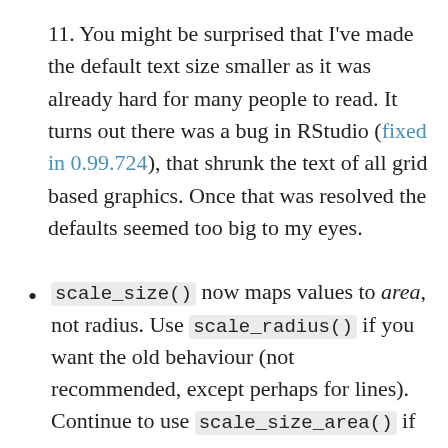11. You might be surprised that I've made the default text size smaller as it was already hard for many people to read. It turns out there was a bug in RStudio (fixed in 0.99.724), that shrunk the text of all grid based graphics. Once that was resolved the defaults seemed too big to my eyes.
scale_size() now maps values to area, not radius. Use scale_radius() if you want the old behaviour (not recommended, except perhaps for lines). Continue to use scale_size_area() if